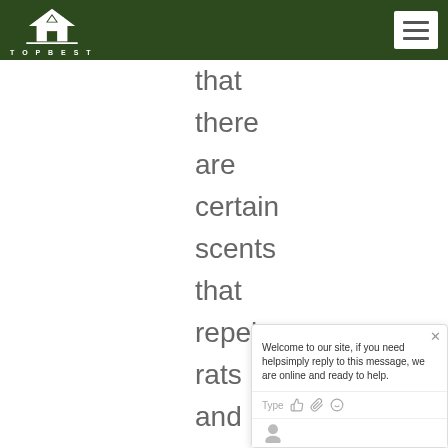TOPBEST
that
there
are
certain
scents
that
repel
rats
and
drive
these
vermin
away